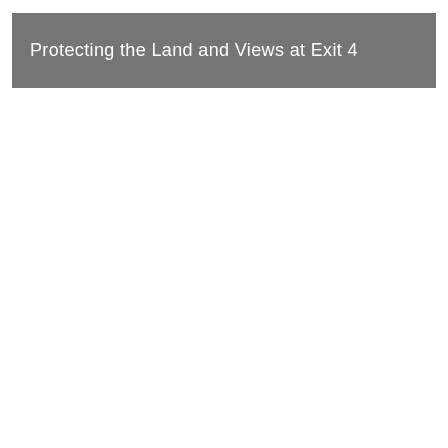Protecting the Land and Views at Exit 4